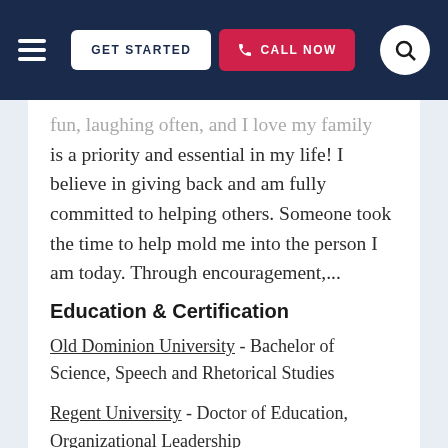GET STARTED | CALL NOW
fun, laughing often, and I love my family is a priority and essential in my life! I believe in giving back and am fully committed to helping others. Someone took the time to help mold me into the person I am today. Through encouragement,...
Education & Certification
Old Dominion University - Bachelor of Science, Speech and Rhetorical Studies
Regent University - Doctor of Education, Organizational Leadership
View this Pittsburgh Special Education Tutor ▶